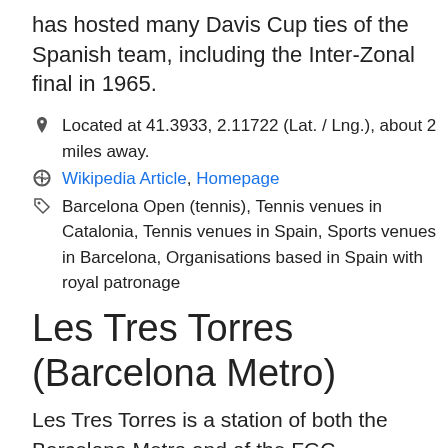has hosted many Davis Cup ties of the Spanish team, including the Inter-Zonal final in 1965.
Located at 41.3933, 2.11722 (Lat. / Lng.), about 2 miles away.
Wikipedia Article, Homepage
Barcelona Open (tennis), Tennis venues in Catalonia, Tennis venues in Spain, Sports venues in Barcelona, Organisations based in Spain with royal patronage
Les Tres Torres (Barcelona Metro)
Les Tres Torres is a station of both the Barcelona Metro and of the FGC commuter train network. It's named after the neighbourhood of the same name in the Sarrià-Sant Gervasi district of Barcelona. It was built in 1952 and is located under Via Augusta.
Located at 41.3975, 2.13056 (Lat. / Lng.), about 2 miles away.
Wikipedia Article
Barcelona Metro line 6 stations, Barcelona–Vallès Line